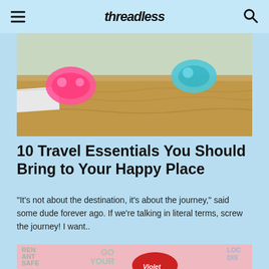Threadless
[Figure (photo): Beach scene with pink flamingo float, teal pool toy, and sand]
10 Travel Essentials You Should Bring to Your Happy Place
“It’s not about the destination, it’s about the journey,” said some dude forever ago. If we’re talking in literal terms, screw the journey! I want..
[Figure (photo): Colorful graphic design products including 'Go Your Own Way' text design and 'Violet' styled heart logo on pink background]